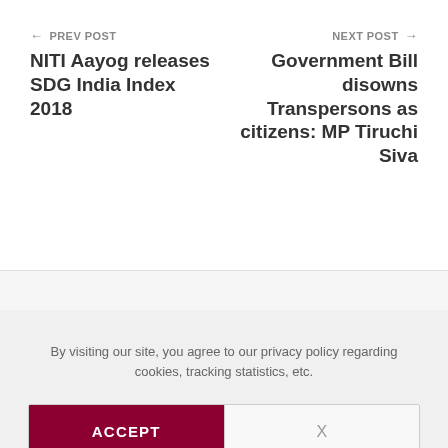← PREV POST
NITI Aayog releases SDG India Index 2018
NEXT POST →
Government Bill disowns Transpersons as citizens: MP Tiruchi Siva
By visiting our site, you agree to our privacy policy regarding cookies, tracking statistics, etc.
ACCEPT
X